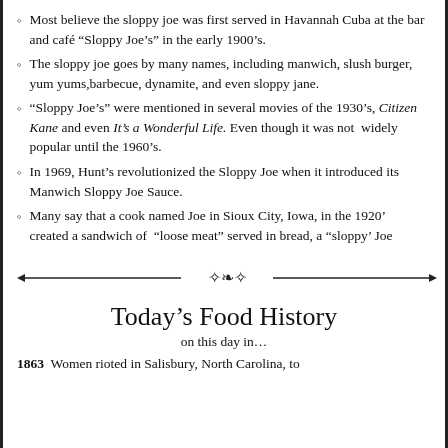Most believe the sloppy joe was first served in Havannah Cuba at the bar and café “Sloppy Joe’s” in the early 1900’s.
The sloppy joe goes by many names, including manwich, slush burger, yum yums,barbecue, dynamite, and even sloppy jane.
“Sloppy Joe’s” were mentioned in several movies of the 1930’s, Citizen Kane and even It’s a Wonderful Life. Even though it was not  widely popular until the 1960’s.
In 1969, Hunt’s revolutionized the Sloppy Joe when it introduced its Manwich Sloppy Joe Sauce.
Many say that a cook named Joe in Sioux City, Iowa, in the 1920’ created a sandwich of “loose meat” served in bread, a “sloppy’ Joe
[Figure (illustration): Decorative horizontal divider with arrows on both ends and a floral/ornamental design in the center]
Today’s Food History
on this day in…
1863  Women rioted in Salisbury, North Carolina, to